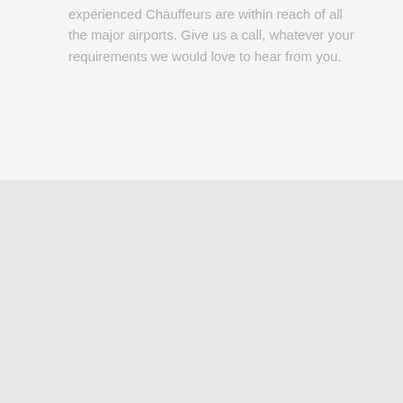experienced Chauffeurs are within reach of all the major airports. Give us a call, whatever your requirements we would love to hear from you.